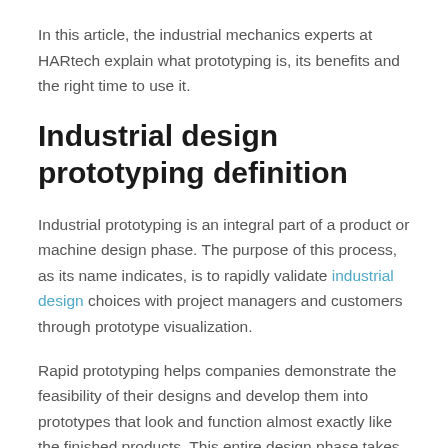In this article, the industrial mechanics experts at HARtech explain what prototyping is, its benefits and the right time to use it.
Industrial design prototyping definition
Industrial prototyping is an integral part of a product or machine design phase. The purpose of this process, as its name indicates, is to rapidly validate industrial design choices with project managers and customers through prototype visualization.
Rapid prototyping helps companies demonstrate the feasibility of their designs and develop them into prototypes that look and function almost exactly like the finished products. This entire design phase takes products through a